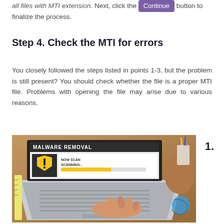all files with MTI extension. Next, click the Continue button to finalize the process.
Step 4. Check the MTI for errors
You closely followed the steps listed in points 1-3, but the problem is still present? You should check whether the file is a proper MTI file. Problems with opening the file may arise due to various reasons.
[Figure (photo): Person typing on a laptop displaying a 'MALWARE REMOVAL' screen with a scanning progress bar and shield warning icon, on a wooden desk with office supplies.]
1.